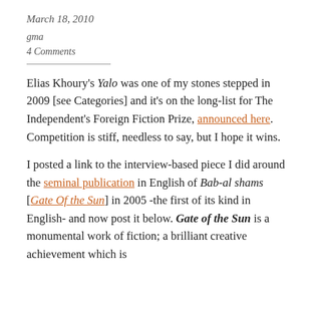March 18, 2010
gma
4 Comments
Elias Khoury's Yalo was one of my stones stepped in 2009 [see Categories] and it's on the long-list for The Independent's Foreign Fiction Prize, announced here. Competition is stiff, needless to say, but I hope it wins.
I posted a link to the interview-based piece I did around the seminal publication in English of Bab-al shams [Gate Of the Sun] in 2005 -the first of its kind in English- and now post it below. Gate of the Sun is a monumental work of fiction; a brilliant creative achievement which is